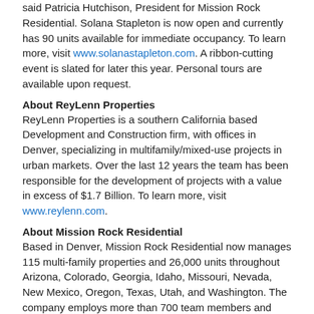said Patricia Hutchison, President for Mission Rock Residential. Solana Stapleton is now open and currently has 90 units available for immediate occupancy. To learn more, visit www.solanastapleton.com. A ribbon-cutting event is slated for later this year. Personal tours are available upon request.
About ReyLenn Properties
ReyLenn Properties is a southern California based Development and Construction firm, with offices in Denver, specializing in multifamily/mixed-use projects in urban markets. Over the last 12 years the team has been responsible for the development of projects with a value in excess of $1.7 Billion. To learn more, visit www.reylenn.com.
About Mission Rock Residential
Based in Denver, Mission Rock Residential now manages 115 multi-family properties and 26,000 units throughout Arizona, Colorado, Georgia, Idaho, Missouri, Nevada, New Mexico, Oregon, Texas, Utah, and Washington. The company employs more than 700 team members and was named one of the Best Places to Work in Multifamily in 2019. Learn more at www.missionrockresidential.com
Tags